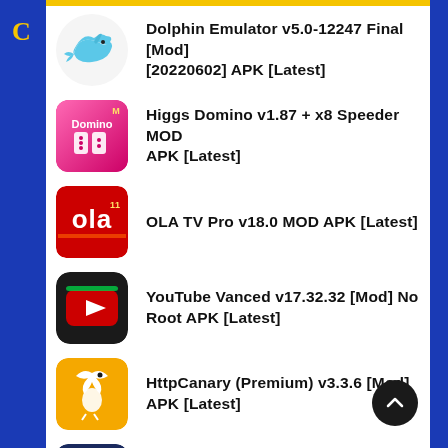Dolphin Emulator v5.0-12247 Final [Mod] [20220602] APK [Latest]
Higgs Domino v1.87 + x8 Speeder MOD APK [Latest]
OLA TV Pro v18.0 MOD APK [Latest]
YouTube Vanced v17.32.32 [Mod] No Root APK [Latest]
HttpCanary (Premium) v3.3.6 [Mod] APK [Latest]
Niagara Launcher fresh/clean v1.7.1 [Pro] APK [Latest]
EX Kernel Manager v5.88 [Patched] MOD APK [Latest]